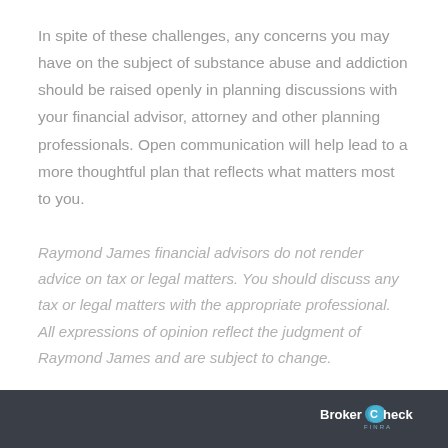In spite of these challenges, any concerns you may have on the subject of substance abuse and addiction should be raised openly in planning discussions with your financial advisor, attorney and other planning professionals. Open communication will help lead to a more thoughtful plan that reflects what matters most to you.
Raymond James financial advisors do not render advice on tax or legal matters. You should discuss any tax or legal matters with the appropriate professional. All expressions of opinion reflect the judgment of Raymond James and are subject to change.
BrokerCheck FINRA